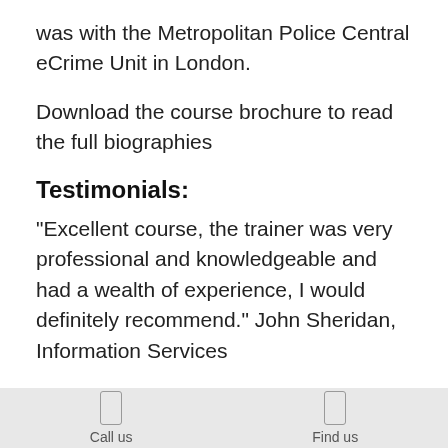was with the Metropolitan Police Central eCrime Unit in London.
Download the course brochure to read the full biographies
Testimonials:
"Excellent course, the trainer was very professional and knowledgeable and had a wealth of experience, I would definitely recommend." John Sheridan, Information Services
Call us   Find us